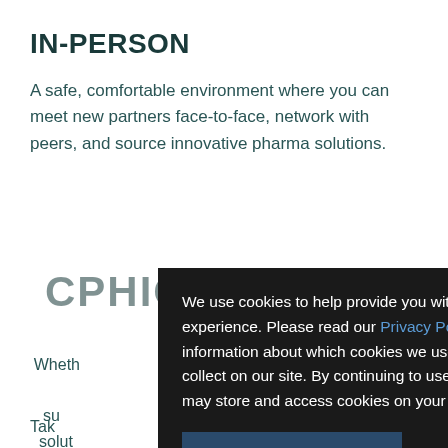IN-PERSON
A safe, comfortable environment where you can meet new partners face-to-face, network with peers, and source innovative pharma solutions.
CPHIOSE Digital
Whether ... ers or su... nd solut... or to learn t... is the
Tak... ive
[Figure (screenshot): Cookie consent modal overlay with dark background. Text reads: 'We use cookies to help provide you with the best possible online experience. Please read our Privacy Policy and Cookie Policy for information about which cookies we use and what information we collect on our site. By continuing to use this site, you agree that we may store and access cookies on your device.' Button labeled 'I AGREE'.]